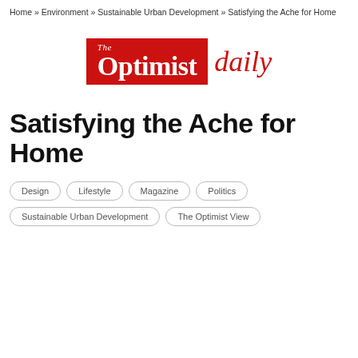Home » Environment » Sustainable Urban Development » Satisfying the Ache for Home
[Figure (logo): The Optimist Daily logo — red rectangle with white text 'The Optimist' followed by italic red 'daily' text]
Satisfying the Ache for Home
Design
Lifestyle
Magazine
Politics
Sustainable Urban Development
The Optimist View